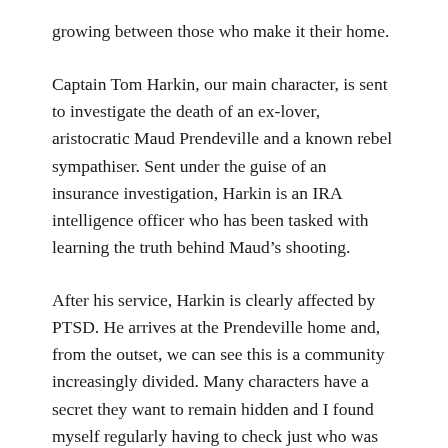growing between those who make it their home.
Captain Tom Harkin, our main character, is sent to investigate the death of an ex-lover, aristocratic Maud Prendeville and a known rebel sympathiser. Sent under the guise of an insurance investigation, Harkin is an IRA intelligence officer who has been tasked with learning the truth behind Maud’s shooting.
After his service, Harkin is clearly affected by PTSD. He arrives at the Prendeville home and, from the outset, we can see this is a community increasingly divided. Many characters have a secret they want to remain hidden and I found myself regularly having to check just who was loyal to which faction as double-crossing seems to abound.
From a historical perspective, this was a fascinating